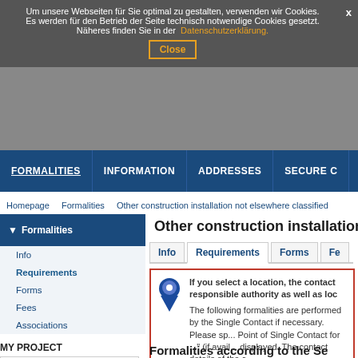Um unsere Webseiten für Sie optimal zu gestalten, verwenden wir Cookies. X Es werden für den Betrieb der Seite technisch notwendige Cookies gesetzt. Näheres finden Sie in der Datenschutzerklärung. Close
FORMALITIES | INFORMATION | ADDRESSES | SECURE C
Homepage > Formalities > Other construction installation not elsewhere classified
Other construction installation
Formalities
Info
Requirements
Forms
Fees
Associations
MY PROJECT
Nationality
German
Service
Other construction installation not elsewhere classified
Info | Requirements | Forms | Fe
If you select a location, the contact responsible authority as well as loc
The following formalities are performed by the Single Contact if necessary. Please specify 'Point of Single Contact for ...' (if available) are displayed. The contact details of the c
Formalities according to the Se